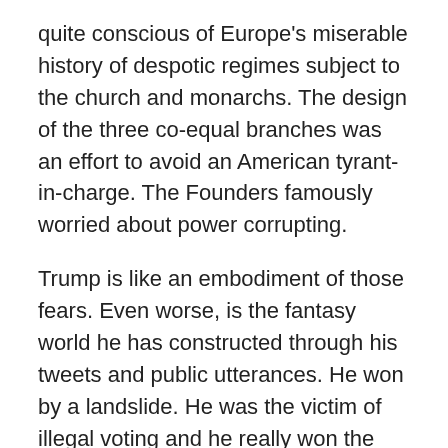quite conscious of Europe's miserable history of despotic regimes subject to the church and monarchs. The design of the three co-equal branches was an effort to avoid an American tyrant-in-charge. The Founders famously worried about power corrupting.
Trump is like an embodiment of those fears. Even worse, is the fantasy world he has constructed through his tweets and public utterances. He won by a landslide. He was the victim of illegal voting and he really won the popular vote. The Ukrainians, not the Russians, interfered in the 2016 election. In the matter of who interfered in 2016, Putin, not the American intelligence services, is a more reliable source. This administration has gotten more done than any other administration.
Destroying facts through the constant repetition of lies and